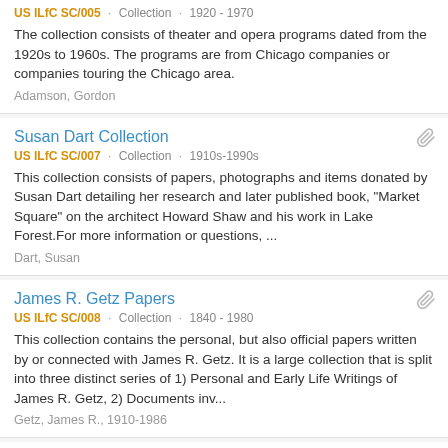US ILfC SC/005 · Collection · 1920 - 1970
The collection consists of theater and opera programs dated from the 1920s to 1960s. The programs are from Chicago companies or companies touring the Chicago area.
Adamson, Gordon
Susan Dart Collection
US ILfC SC/007 · Collection · 1910s-1990s
This collection consists of papers, photographs and items donated by Susan Dart detailing her research and later published book, "Market Square" on the architect Howard Shaw and his work in Lake Forest.For more information or questions, ...
Dart, Susan
James R. Getz Papers
US ILfC SC/008 · Collection · 1840 - 1980
This collection contains the personal, but also official papers written by or connected with James R. Getz. It is a large collection that is split into three distinct series of 1) Personal and Early Life Writings of James R. Getz, 2) Documents inv...
Getz, James R., 1910-1986
Partial item visible at bottom